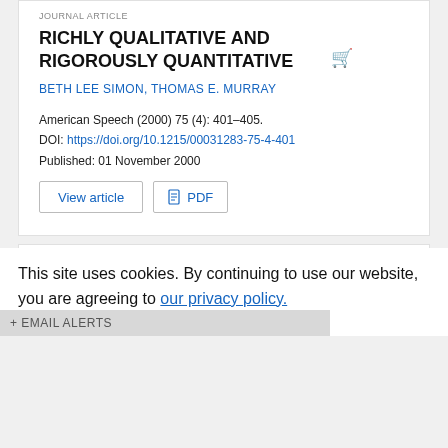JOURNAL ARTICLE
RICHLY QUALITATIVE AND RIGOROUSLY QUANTITATIVE
BETH LEE SIMON, THOMAS E. MURRAY
American Speech (2000) 75 (4): 401–405.
DOI: https://doi.org/10.1215/00031283-75-4-401
Published: 01 November 2000
View article  PDF
This site uses cookies. By continuing to use our website, you are agreeing to our privacy policy. Accept